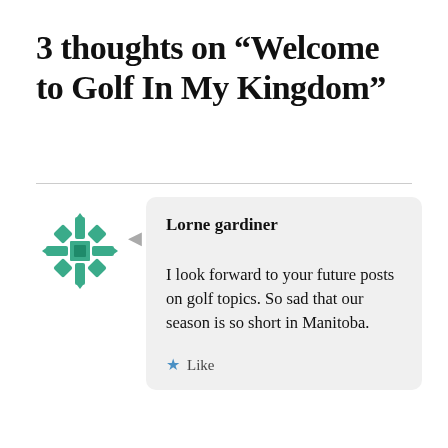3 thoughts on “Welcome to Golf In My Kingdom”
[Figure (illustration): Green decorative snowflake/quilt pattern avatar icon for commenter Lorne gardiner]
Lorne gardiner
I look forward to your future posts on golf topics. So sad that our season is so short in Manitoba.
Like